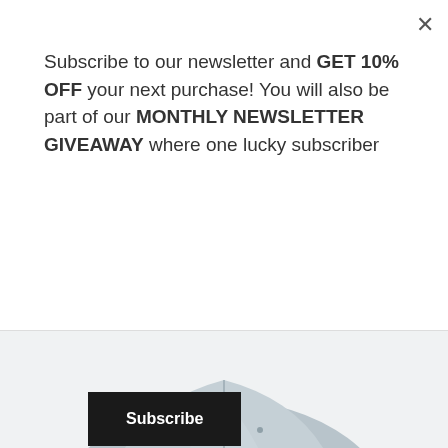Subscribe to our newsletter and GET 10% OFF your next purchase! You will also be part of our MONTHLY NEWSLETTER GIVEAWAY where one lucky subscriber
Subscribe
[Figure (photo): Gray snapback hat with a brown leather patch showing 'WØØD' branding, photographed from behind against a white background. An 'OUT OF STOCK' overlay banner appears across the lower portion of the image.]